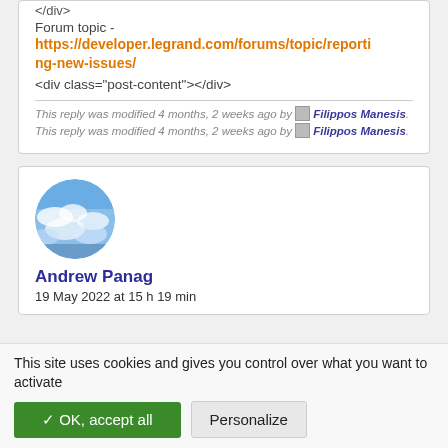</div>
Forum topic - https://developer.legrand.com/forums/topic/reporting-new-issues/
<div class="post-content"></div>
This reply was modified 4 months, 2 weeks ago by Filippos Manesis.
This reply was modified 4 months, 2 weeks ago by Filippos Manesis.
[Figure (photo): Circular avatar photo of Andrew Panag showing a sky with clouds]
Andrew Panag
19 May 2022 at 15 h 19 min
This site uses cookies and gives you control over what you want to activate
✓ OK, accept all
Personalize